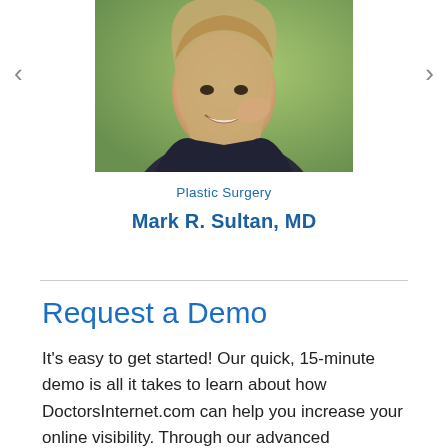[Figure (photo): Photo of a smiling young woman with long blonde-brown hair, hand near her face, wearing a dark jacket, with a green outdoor background. Navigation arrows on left and right sides.]
Plastic Surgery
Mark R. Sultan, MD
Request a Demo
It's easy to get started! Our quick, 15-minute demo is all it takes to learn about how DoctorsInternet.com can help you increase your online visibility. Through our advanced